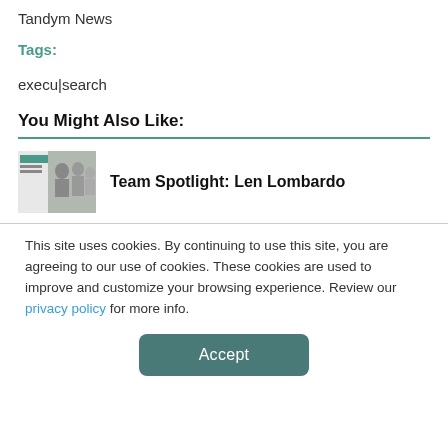Tandym News
Tags:
execu|search
You Might Also Like:
[Figure (photo): Thumbnail image for Team Spotlight: Len Lombardo article with small teal logo and group photo]
Team Spotlight: Len Lombardo
This site uses cookies. By continuing to use this site, you are agreeing to our use of cookies. These cookies are used to improve and customize your browsing experience. Review our privacy policy for more info.
Accept